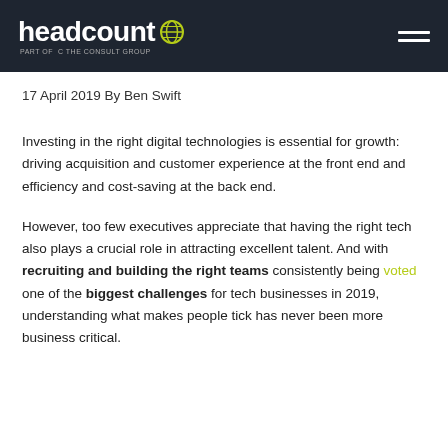headcount – part of The Consult Group
17 April 2019 By Ben Swift
Investing in the right digital technologies is essential for growth: driving acquisition and customer experience at the front end and efficiency and cost-saving at the back end.
However, too few executives appreciate that having the right tech also plays a crucial role in attracting excellent talent. And with recruiting and building the right teams consistently being voted one of the biggest challenges for tech businesses in 2019, understanding what makes people tick has never been more business critical.